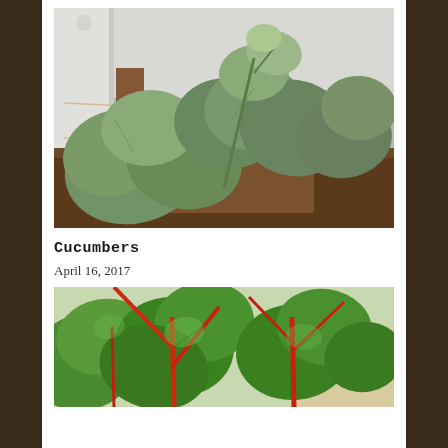[Figure (photo): Photograph of cucumber plants with large green leaves growing in a garden bed, with a wooden structure and string trellis visible in the background against a white wall.]
Cucumbers
April 16, 2017
[Figure (photo): Close-up photograph of leafy green plants with prominent red stems, likely Swiss chard, growing in a garden.]